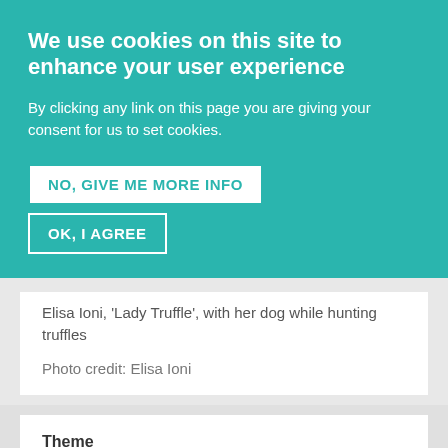We use cookies on this site to enhance your user experience
By clicking any link on this page you are giving your consent for us to set cookies.
NO, GIVE ME MORE INFO
OK, I AGREE
Elisa Ioni, 'Lady Truffle', with her dog while hunting truffles
Photo credit: Elisa Ioni
Theme
10 - Marketing